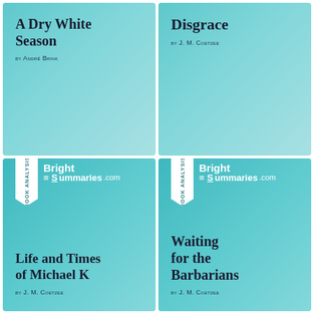[Figure (illustration): Book analysis cover for 'A Dry White Season' by André Brink, teal gradient background, BrightSummaries.com branding not shown in top cells]
A Dry White Season
by André Brink
[Figure (illustration): Book analysis cover for 'Disgrace' by J. M. Coetzee, teal gradient background]
Disgrace
by J. M. Coetzee
[Figure (illustration): Book analysis cover for 'Life and Times of Michael K' by J. M. Coetzee, teal background with BrightSummaries.com logo and bookmark ribbon]
Life and Times of Michael K
by J. M. Coetzee
[Figure (illustration): Book analysis cover for 'Waiting for the Barbarians' by J. M. Coetzee, teal background with BrightSummaries.com logo and bookmark ribbon]
Waiting for the Barbarians
by J. M. Coetzee